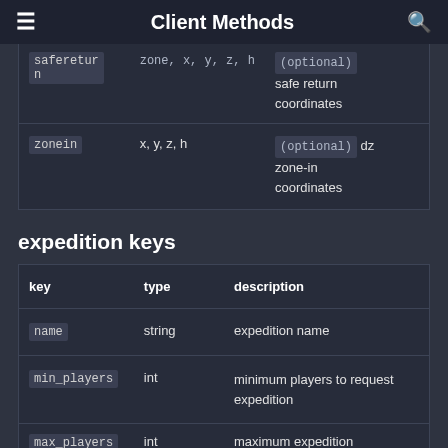Client Methods
|  |  |  |
| --- | --- | --- |
| safereturn | zone, x, y, z, h | (optional)
safe return coordinates |
| zonein | x, y, z, h | (optional) dz zone-in coordinates |
expedition keys
| key | type | description |
| --- | --- | --- |
| name | string | expedition name |
| min_players | int | minimum players to request expedition |
| max_players | int | maximum expedition |